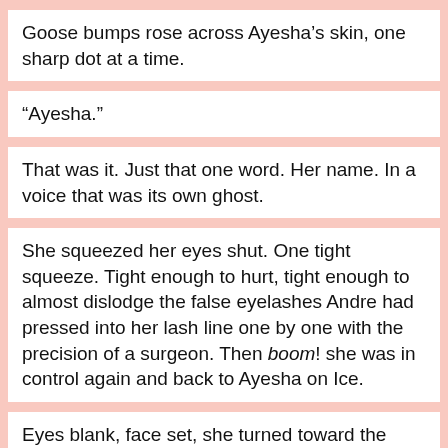Goose bumps rose across Ayesha’s skin, one sharp dot at a time.
“Ayesha.”
That was it. Just that one word. Her name. In a voice that was its own ghost.
She squeezed her eyes shut. One tight squeeze. Tight enough to hurt, tight enough to almost dislodge the false eyelashes Andre had pressed into her lash line one by one with the precision of a surgeon. Then boom! she was in control again and back to Ayesha on Ice.
Eyes blank, face set, she turned toward the voice.
Emmitt.